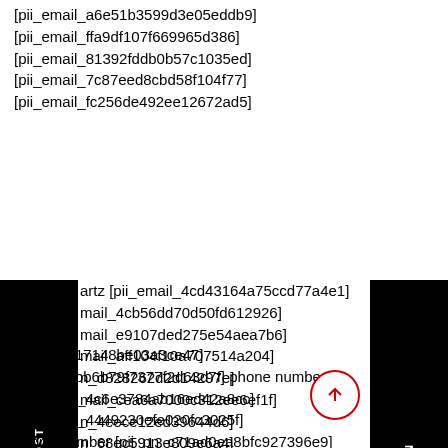[pii_email_a6e51b3599d3e05eddb9]
[pii_email_ffa9df107f669965d386]
[pii_email_81392fddb0b57c1035ed]
[pii_email_7c87eed8cbd58f104f77]
[pii_email_fc256de492ee12672ad5]
artz [pii_email_4cd43164a75ccd77a4e1]
mail_4cb56dd70d50fd612926]
mail_e9107ded275e54aea7b6]
mail_aff104f10a707514a204]
n_d828262d2d14297e]
mail_cea6a7000c312ee6ef1f]
n_4eece12ed39644d6]
n_68ec5913e809e6a4]
[pii_pn_017148be03a3ce47]
[pii_pn_bbb6b79f7377f2d63d7f] phone number
[pii_email_4c6e3784ab16ed42a8cc]
[pii_email_4449230efe020fc3025f]
phone number [pii_pn_c71ad0ea8bfc927396e9]